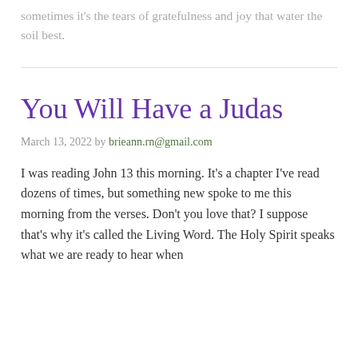sometimes it's the tears of gratefulness and joy that water the soil best.
You Will Have a Judas
March 13, 2022 by brieann.rn@gmail.com
I was reading John 13 this morning. It's a chapter I've read dozens of times, but something new spoke to me this morning from the verses. Don't you love that? I suppose that's why it's called the Living Word. The Holy Spirit speaks what we are ready to hear when